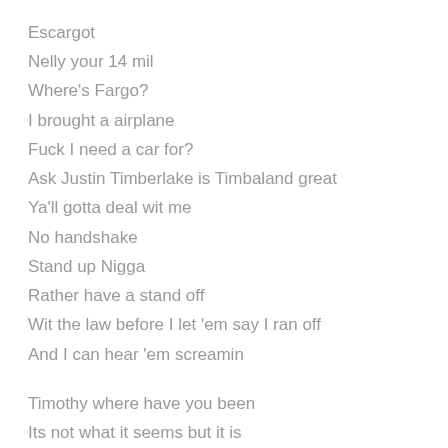Escargot
Nelly your 14 mil
Where's Fargo?
I brought a airplane
Fuck I need a car for?
Ask Justin Timberlake is Timbaland great
Ya'll gotta deal wit me
No handshake
Stand up Nigga
Rather have a stand off
Wit the law before I let 'em say I ran off
And I can hear 'em screamin
Timothy where have you been
Its not what it seems but it is
Timothy where have you been
She cried in the kitchen to let you go
Timothy where have you been